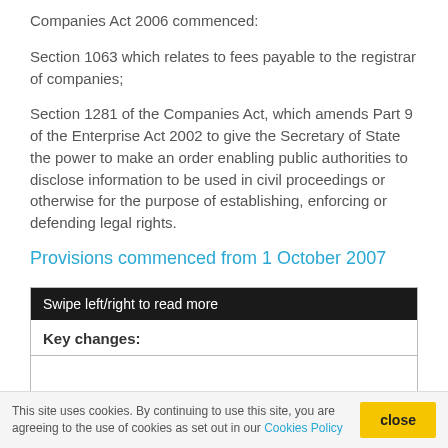Companies Act 2006 commenced:
Section 1063 which relates to fees payable to the registrar of companies;
Section 1281 of the Companies Act, which amends Part 9 of the Enterprise Act 2002 to give the Secretary of State the power to make an order enabling public authorities to disclose information to be used in civil proceedings or otherwise for the purpose of establishing, enforcing or defending legal rights.
Provisions commenced from 1 October 2007
| Key changes: |
| --- |
| The Companies Act sets out directors' responsibilities to their companies. |
This site uses cookies. By continuing to use this site, you are agreeing to the use of cookies as set out in our Cookies Policy